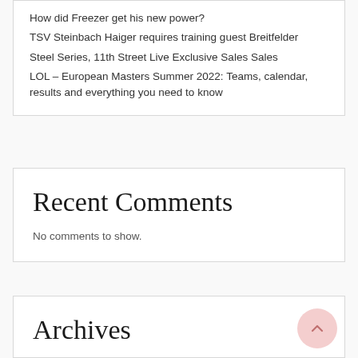How did Freezer get his new power?
TSV Steinbach Haiger requires training guest Breitfelder
Steel Series, 11th Street Live Exclusive Sales Sales
LOL – European Masters Summer 2022: Teams, calendar, results and everything you need to know
Recent Comments
No comments to show.
Archives